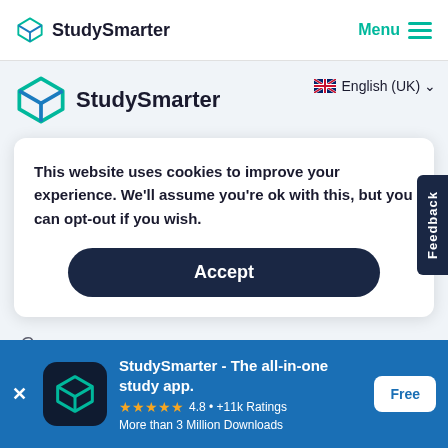StudySmarter | Menu
[Figure (logo): StudySmarter logo with teal geometric diamond/box icon and bold text 'StudySmarter']
English (UK)
This website uses cookies to improve your experience. We'll assume you're ok with this, but you can opt-out if you wish.
Accept
Feedback
Careers
StudySmarter - The all-in-one study app.
4.8 • +11k Ratings
More than 3 Million Downloads
Free